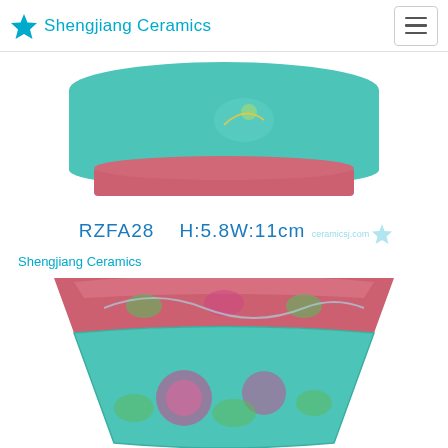Shengjiang Ceramics
[Figure (photo): Top portion of a Chinese famille rose ceramic bowl with turquoise and pink glaze, partially visible]
RZFA28    H:5.8W:11cm
Shengjiang Ceramics
[Figure (photo): Chinese famille rose ceramic flower pot/planter with flared rim, pink upper band with floral scroll pattern and turquoise lower body with peony flowers]